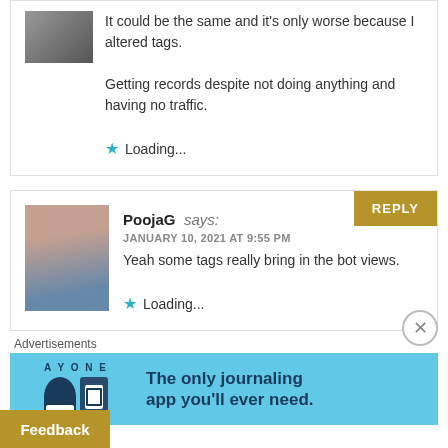It could be the same and it's only worse because I altered tags.

Getting records despite not doing anything and having no traffic.

★ Loading...
PoojaG says:
JANUARY 10, 2021 AT 9:55 PM
Yeah some tags really bring in the bot views.

★ Loading...
Advertisements
The only journaling app you'll ever need.
Feedback